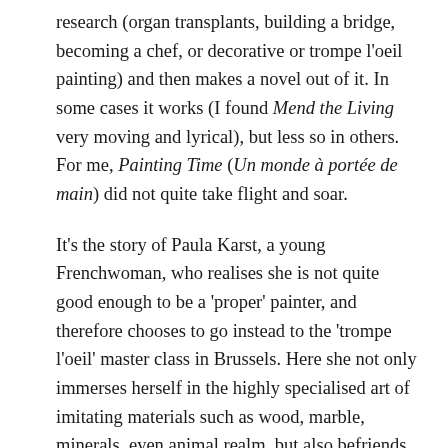research (organ transplants, building a bridge, becoming a chef, or decorative or trompe l'oeil painting) and then makes a novel out of it. In some cases it works (I found Mend the Living very moving and lyrical), but less so in others. For me, Painting Time (Un monde à portée de main) did not quite take flight and soar.
It's the story of Paula Karst, a young Frenchwoman, who realises she is not quite good enough to be a 'proper' painter, and therefore chooses to go instead to the 'trompe l'oeil' master class in Brussels. Here she not only immerses herself in the highly specialised art of imitating materials such as wood, marble, minerals, even animal realm, but also befriends the taciturn, somewhat mysterious Jonas, who becomes her flatmate, and the tall, stroppy former nightclub bouncer Kate from Scotland. We follow Paula's steep learning curve, the hard work